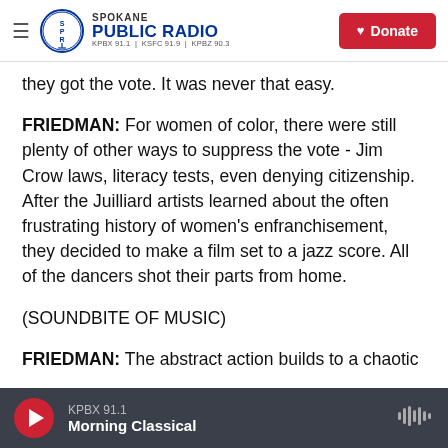Spokane Public Radio – KPBX 91.1 | KSFC 91.9 | KPBZ 90.3 – Donate
they got the vote. It was never that easy.
FRIEDMAN: For women of color, there were still plenty of other ways to suppress the vote - Jim Crow laws, literacy tests, even denying citizenship. After the Juilliard artists learned about the often frustrating history of women's enfranchisement, they decided to make a film set to a jazz score. All of the dancers shot their parts from home.
(SOUNDBITE OF MUSIC)
FRIEDMAN: The abstract action builds to a chaotic
KPBX 91.1 – Morning Classical